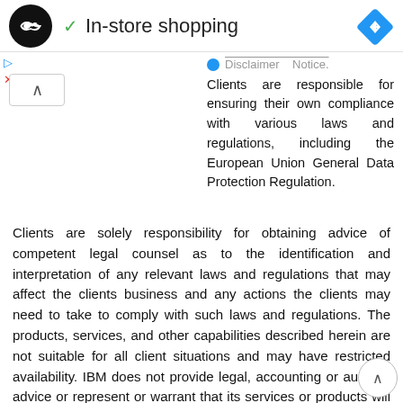In-store shopping
Disclaimer Notice. Clients are responsible for ensuring their own compliance with various laws and regulations, including the European Union General Data Protection Regulation.
Clients are solely responsibility for obtaining advice of competent legal counsel as to the identification and interpretation of any relevant laws and regulations that may affect the clients business and any actions the clients may need to take to comply with such laws and regulations. The products, services, and other capabilities described herein are not suitable for all client situations and may have restricted availability. IBM does not provide legal, accounting or auditing advice or represent or warrant that its services or products will ensure that clients are in